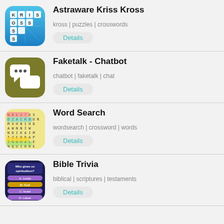Astraware Kriss Kross
kross | puzzles | crosswords
Details
Faketalk - Chatbot
chatbot | faketalk | chat
Details
Word Search
wordsearch | crossword | words
Details
Bible Trivia
biblical | scriptures | testaments
Details